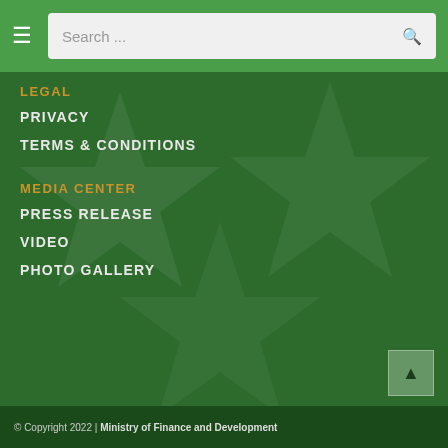Search ...
LEGAL
PRIVACY
TERMS & CONDITIONS
MEDIA CENTER
PRESS RELEASE
VIDEO
PHOTO GALLERY
© Copyright 2022 | Ministry of Finance and Development